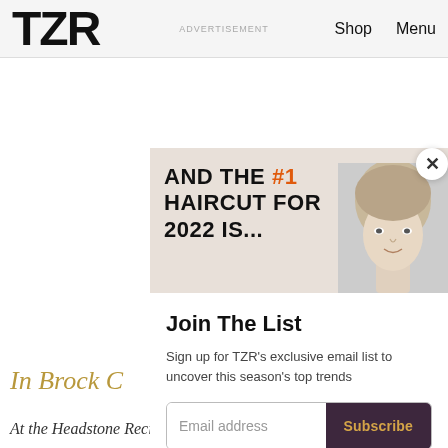TZR  ADVERTISEMENT  Shop  Menu
[Figure (illustration): Advertisement banner with beige background showing bold text 'AND THE #1 HAIRCUT FOR 2022 IS...' with a woman's face photograph on the right]
Join The List
Sign up for TZR's exclusive email list to uncover this season's top trends
Email address  Subscribe
In Brock C
At the Headstone Recient Wards Of Was Coloria Ne